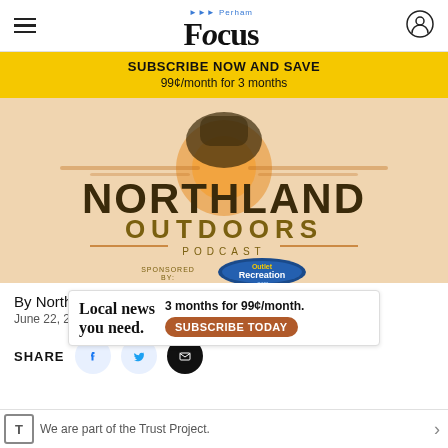Perham Focus
SUBSCRIBE NOW AND SAVE
99¢/month for 3 months
[Figure (logo): Northland Outdoors Podcast logo with orange sunset, trees, and sponsored by Outlet Recreation badge on peach/tan background]
By Northland Outdoors
June 22, 2022 04:32 PM
SHARE
[Figure (infographic): Advertisement banner: Local news you need. 3 months for 99¢/month. SUBSCRIBE TODAY button]
We are part of the Trust Project.